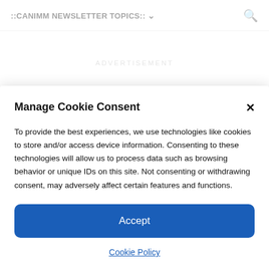::CANIMM NEWSLETTER TOPICS:: ▼
ADVERTISEMENT
Manage Cookie Consent
To provide the best experiences, we use technologies like cookies to store and/or access device information. Consenting to these technologies will allow us to process data such as browsing behavior or unique IDs on this site. Not consenting or withdrawing consent, may adversely affect certain features and functions.
Accept
Cookie Policy